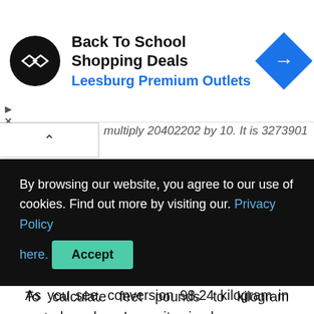[Figure (other): Advertisement banner for Back To School Shopping Deals at Leesburg Premium Outlets, with a circular logo containing double arrow icon, blue outlet name text, and a blue diamond-shaped arrow icon on the right.]
multiply 20402202 by 10. It is 327390192 ounces.
So final result is exactly 2 pounds and 327396192 ounces. It is also possible to round off ounces, for instance, to two places. Then your outcome will be exactly 2 pounds and 33 ounces.
As you see, conversion 98.24 kilogram in pounds and ounces quite simply.
By browsing our website, you agree to our use of cookies. Find out more by visiting our. Privacy Policy here. Accept
To calculate feet pounds to kilogram meters you need